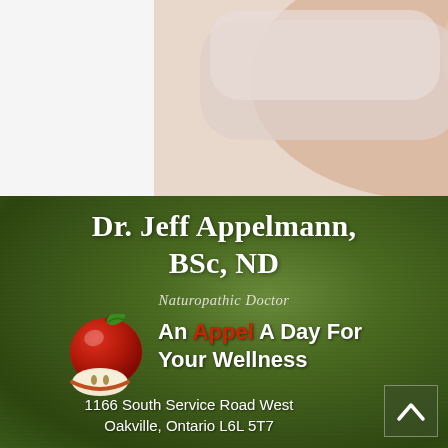[Figure (photo): Medical/naturopathic themed photo showing hands/skin, top portion of advertisement]
Dr. Jeff Appelmann, BSc, ND
Naturopathic Doctor
[Figure (illustration): Red apple and apple slice illustration alongside tagline]
An Appel A Day For Your Wellness
1166 South Service Road West
Oakville, Ontario L6L 5T7